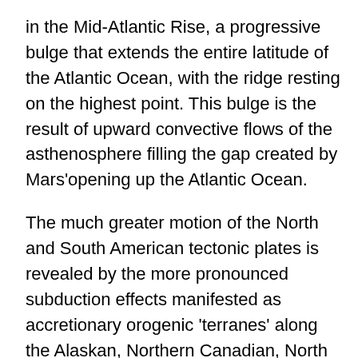in the Mid-Atlantic Rise, a progressive bulge that extends the entire latitude of the Atlantic Ocean, with the ridge resting on the highest point. This bulge is the result of upward convective flows of the asthenosphere filling the gap created by Mars'opening up the Atlantic Ocean.
The much greater motion of the North and South American tectonic plates is revealed by the more pronounced subduction effects manifested as accretionary orogenic 'terranes' along the Alaskan, Northern Canadian, North American Basin and Range province, the Baha Peninsula and South American Cordillera subduction zones caused by compressional, accordion-like folding. Geologists, unaware of the forces exerted by Mars during the Vedic Period, are at a loss to explain all subduction zones of the continents and date the origin of subduction in the